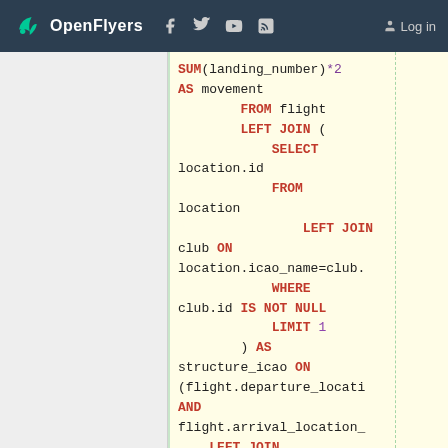OpenFlyers  Log in
[Figure (screenshot): SQL code snippet showing a query with SUM(landing_number)*2 AS movement, FROM flight, LEFT JOIN with subquery SELECT location.id FROM location LEFT JOIN club ON location.icao_name=club. WHERE club.id IS NOT NULL LIMIT 1 AS structure_icao ON (flight.departure_locati AND flight.arrival_location_ LEFT JOIN flight_pilot ON (flight_pilot.flight_id= LEFT JOIN person ON (person.id=flight_pilot. AND]
SUM(landing_number)*2
AS movement
    FROM flight
        LEFT JOIN (
            SELECT
location.id
            FROM
location
                LEFT JOIN
club ON
location.icao_name=club.
            WHERE
club.id IS NOT NULL
            LIMIT 1
        ) AS
structure_icao ON
(flight.departure_locati
AND
flight.arrival_location_
    LEFT JOIN
flight_pilot ON
(flight_pilot.flight_id=
    LEFT JOIN
person ON
(person.id=flight_pilot.
AND